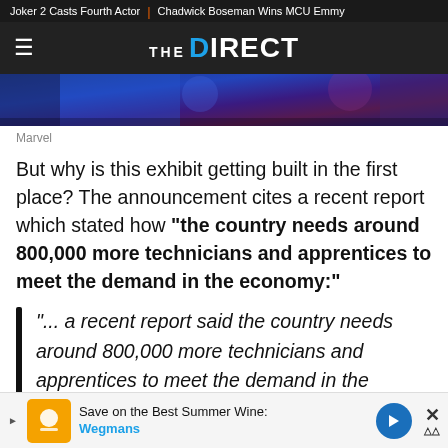Joker 2 Casts Fourth Actor | Chadwick Boseman Wins MCU Emmy
[Figure (logo): The Direct logo with hamburger menu icon on dark background]
[Figure (photo): Marvel-themed hero image strip showing blue and purple tones]
Marvel
But why is this exhibit getting built in the first place? The announcement cites a recent report which stated how "the country needs around 800,000 more technicians and apprentices to meet the demand in the economy:"
"... a recent report said the country needs around 800,000 more technicians and apprentices to meet the demand in the
Save on the Best Summer Wines Wegmans